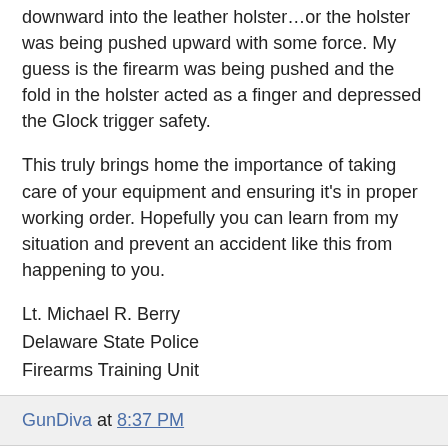downward into the leather holster…or the holster was being pushed upward with some force. My guess is the firearm was being pushed and the fold in the holster acted as a finger and depressed the Glock trigger safety.
This truly brings home the importance of taking care of your equipment and ensuring it's in proper working order. Hopefully you can learn from my situation and prevent an accident like this from happening to you.
Lt. Michael R. Berry
Delaware State Police
Firearms Training Unit
GunDiva at 8:37 PM
10 comments:
Unknown April 18, 2011 at 8:11 AM
This comment has been removed by the author.